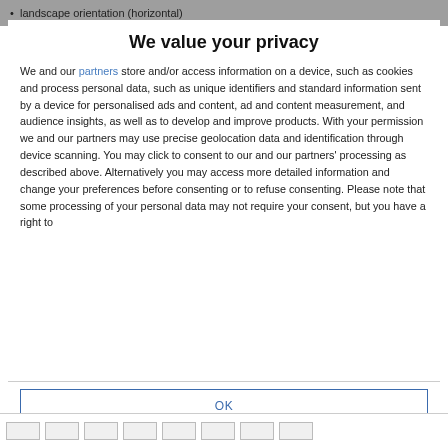landscape orientation (horizontal)
We value your privacy
We and our partners store and/or access information on a device, such as cookies and process personal data, such as unique identifiers and standard information sent by a device for personalised ads and content, ad and content measurement, and audience insights, as well as to develop and improve products. With your permission we and our partners may use precise geolocation data and identification through device scanning. You may click to consent to our and our partners' processing as described above. Alternatively you may access more detailed information and change your preferences before consenting or to refuse consenting. Please note that some processing of your personal data may not require your consent, but you have a right to
OK
MORE OPTIONS